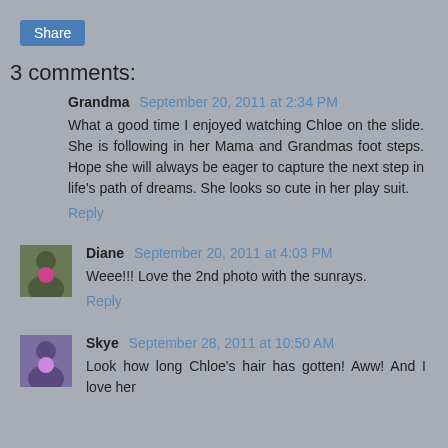Share
3 comments:
Grandma September 20, 2011 at 2:34 PM
What a good time I enjoyed watching Chloe on the slide. She is following in her Mama and Grandmas foot steps. Hope she will always be eager to capture the next step in life's path of dreams. She looks so cute in her play suit.
Reply
[Figure (photo): Avatar photo of Diane]
Diane September 20, 2011 at 4:03 PM
Weee!!! Love the 2nd photo with the sunrays.
Reply
[Figure (photo): Avatar photo of Skye]
Skye September 28, 2011 at 10:50 AM
Look how long Chloe's hair has gotten! Aww! And I love her